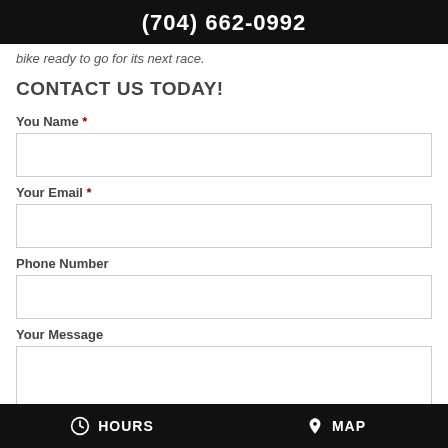(704) 662-0992
bike ready to go for its next race.
CONTACT US TODAY!
You Name *
Your Email *
Phone Number
Your Message
HOURS  MAP